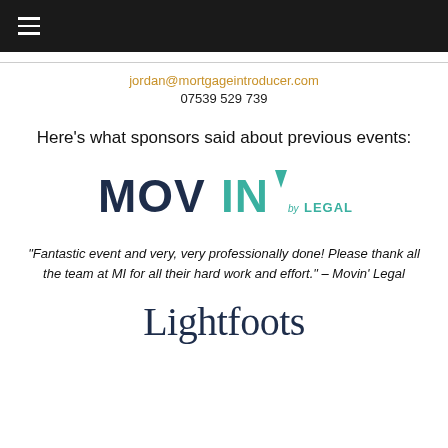☰
jordan@mortgageintroducer.com
07539 529 739
Here's what sponsors said about previous events:
[Figure (logo): MOVIN' by LEGAL logo with dark navy and teal colours]
“Fantastic event and very, very professionally done! Please thank all the team at MI for all their hard work and effort.” – Movin’ Legal
[Figure (logo): Lightfoots serif logo in dark navy]